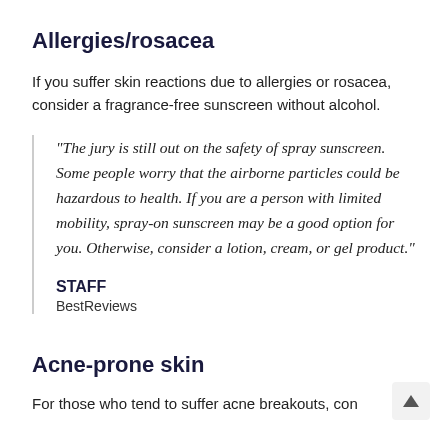Allergies/rosacea
If you suffer skin reactions due to allergies or rosacea, consider a fragrance-free sunscreen without alcohol.
"The jury is still out on the safety of spray sunscreen. Some people worry that the airborne particles could be hazardous to health. If you are a person with limited mobility, spray-on sunscreen may be a good option for you. Otherwise, consider a lotion, cream, or gel product."
STAFF
BestReviews
Acne-prone skin
For those who tend to suffer acne breakouts, con